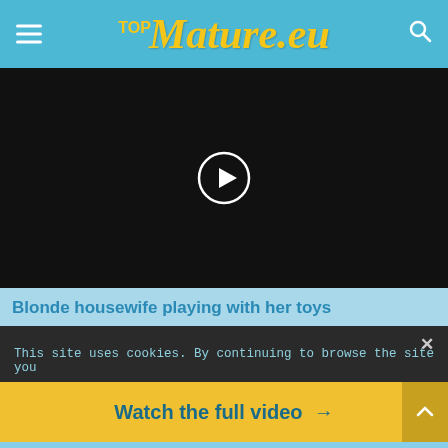TOP Mature.eu
[Figure (screenshot): Black video player with white circular play button in center]
Blonde housewife playing with her toys
[Figure (screenshot): Dark video thumbnail with X close button and cookie notice text]
This site uses cookies. By continuing to browse the site you
Watch the full video →